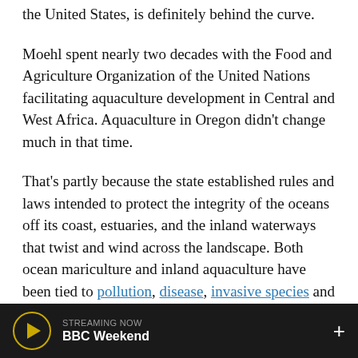the United States, is definitely behind the curve.
Moehl spent nearly two decades with the Food and Agriculture Organization of the United Nations facilitating aquaculture development in Central and West Africa. Aquaculture in Oregon didn’t change much in that time.
That’s partly because the state established rules and laws intended to protect the integrity of the oceans off its coast, estuaries, and the inland waterways that twist and wind across the landscape. Both ocean mariculture and inland aquaculture have been tied to pollution, disease, invasive species and lax animal safety.
And so boxing out aquaculture in Oregon, directly
STREAMING NOW
BBC Weekend